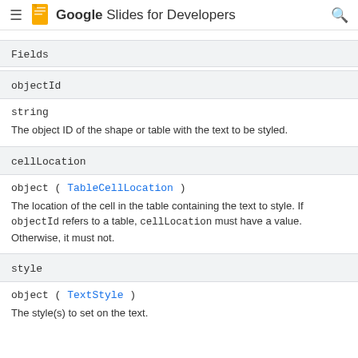Google Slides for Developers
Fields
| objectId | string | The object ID of the shape or table with the text to be styled. |
| cellLocation | object ( TableCellLocation ) | The location of the cell in the table containing the text to style. If objectId refers to a table, cellLocation must have a value. Otherwise, it must not. |
| style | object ( TextStyle ) | The style(s) to set on the text. |